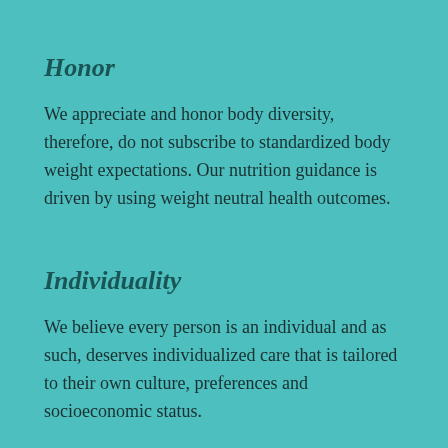Honor
We appreciate and honor body diversity, therefore, do not subscribe to standardized body weight expectations. Our nutrition guidance is driven by using weight neutral health outcomes.
Individuality
We believe every person is an individual and as such, deserves individualized care that is tailored to their own culture, preferences and socioeconomic status.